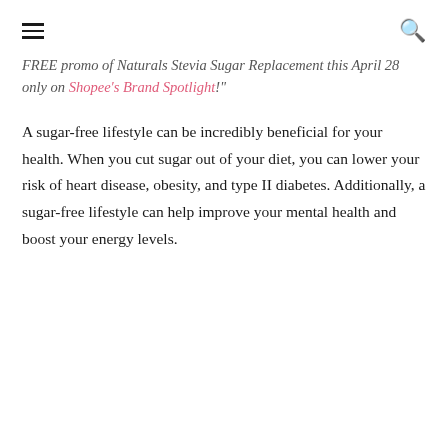[hamburger menu] [search icon]
FREE promo of Naturals Stevia Sugar Replacement this April 28 only on Shopee's Brand Spotlight!"
A sugar-free lifestyle can be incredibly beneficial for your health. When you cut sugar out of your diet, you can lower your risk of heart disease, obesity, and type II diabetes. Additionally, a sugar-free lifestyle can help improve your mental health and boost your energy levels.